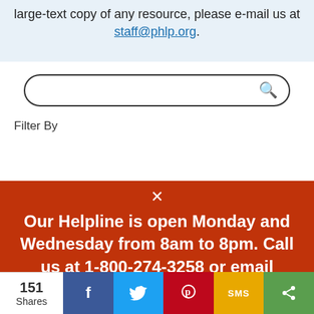large-text copy of any resource, please e-mail us at staff@phlp.org.
[Figure (screenshot): Search bar with magnifying glass icon]
Filter By
Our Helpline is open Monday and Wednesday from 8am to 8pm. Call us at 1-800-274-3258 or email staff@phlp.org.
151 Shares
[Figure (infographic): Social share bar with Facebook, Twitter, Pinterest, SMS, and share icons]